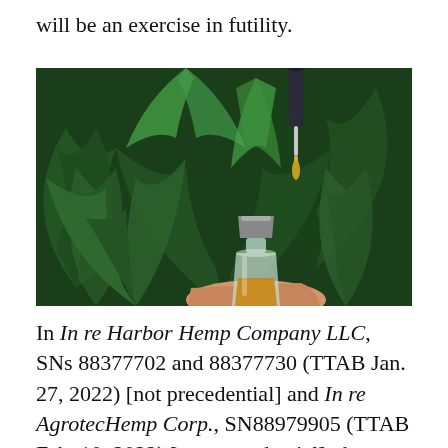will be an exercise in futility.
[Figure (photo): A hand holding a small glass bottle filled with amber-colored CBD oil, with a dropper releasing a drop of oil above it, set against a background of green cannabis leaves.]
In In re Harbor Hemp Company LLC, SNs 88377702 and 88377730 (TTAB Jan. 27, 2022) [not precedential] and In re AgrotecHemp Corp., SN88979905 (TTAB Feb. 10, 2022) [not precedential], the TTAB uniformly held that